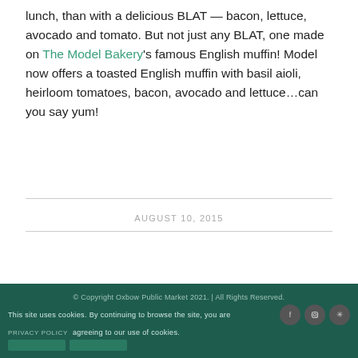lunch, than with a delicious BLAT — bacon, lettuce, avocado and tomato. But not just any BLAT, one made on The Model Bakery's famous English muffin!  Model now offers a toasted English muffin with basil aioli, heirloom tomatoes, bacon, avocado and lettuce…can you say yum!
AUGUST 10, 2015
© Copyright Oxbow Public Market 2021.  |  All Rights Reserved.
This site uses cookies. By continuing to browse the site, you are
PRIVACY POLICY  agreeing to our use of cookies.